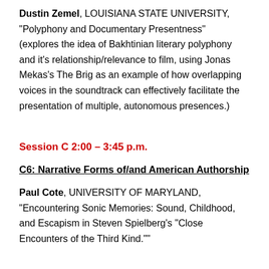Dustin Zemel, LOUISIANA STATE UNIVERSITY, "Polyphony and Documentary Presentness" (explores the idea of Bakhtinian literary polyphony and it's relationship/relevance to film, using Jonas Mekas's The Brig as an example of how overlapping voices in the soundtrack can effectively facilitate the presentation of multiple, autonomous presences.)
Session C 2:00 – 3:45 p.m.
C6: Narrative Forms of/and American Authorship
Paul Cote, UNIVERSITY OF MARYLAND, "Encountering Sonic Memories: Sound, Childhood, and Escapism in Steven Spielberg's "Close Encounters of the Third Kind.""